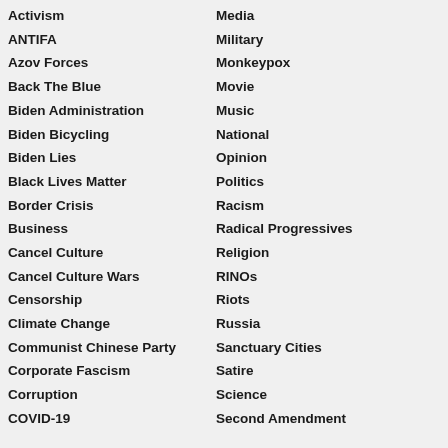Activism
ANTIFA
Azov Forces
Back The Blue
Biden Administration
Biden Bicycling
Biden Lies
Black Lives Matter
Border Crisis
Business
Cancel Culture
Cancel Culture Wars
Censorship
Climate Change
Communist Chinese Party
Corporate Fascism
Corruption
COVID-19
Media
Military
Monkeypox
Movie
Music
National
Opinion
Politics
Racism
Radical Progressives
Religion
RINOs
Riots
Russia
Sanctuary Cities
Satire
Science
Second Amendment